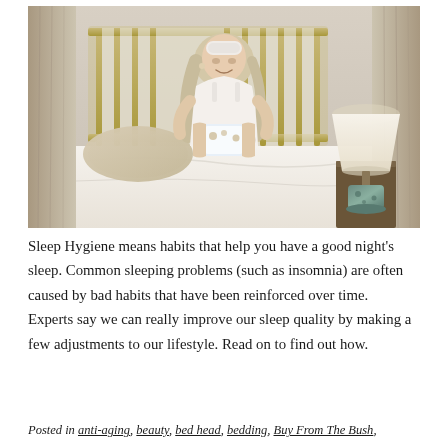[Figure (photo): Woman sitting on a white bed holding a mug, wearing a white sleep mask on her head and a white dress, with gold canopy bed frame, cream pillows, and a decorative lamp on the nightstand to the right.]
Sleep Hygiene means habits that help you have a good night’s sleep. Common sleeping problems (such as insomnia) are often caused by bad habits that have been reinforced over time.  Experts say we can really improve our sleep quality by making a few adjustments to our lifestyle. Read on to find out how.
Posted in anti-aging, beauty, bed head, bedding, Buy From The Bush,